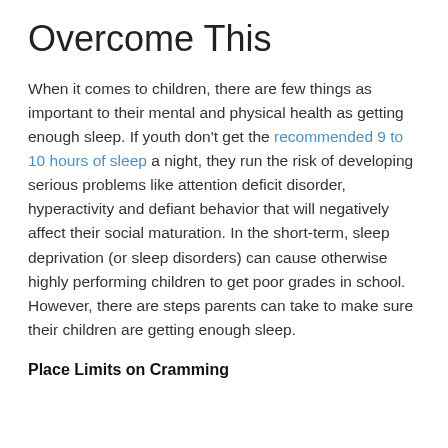Overcome This
When it comes to children, there are few things as important to their mental and physical health as getting enough sleep. If youth don't get the recommended 9 to 10 hours of sleep a night, they run the risk of developing serious problems like attention deficit disorder, hyperactivity and defiant behavior that will negatively affect their social maturation. In the short-term, sleep deprivation (or sleep disorders) can cause otherwise highly performing children to get poor grades in school. However, there are steps parents can take to make sure their children are getting enough sleep.
Place Limits on Cramming